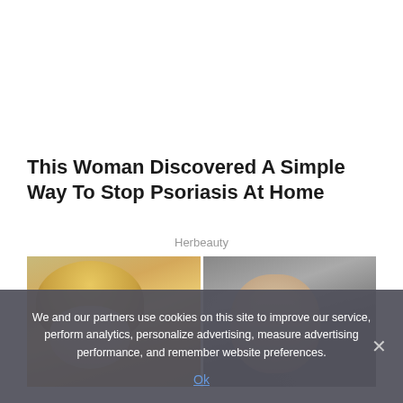This Woman Discovered A Simple Way To Stop Psoriasis At Home
Herbeauty
[Figure (photo): Two people pictured side by side in what appears to be a bathroom or closet setting — on the left a person with blonde hair, on the right a bald person.]
We and our partners use cookies on this site to improve our service, perform analytics, personalize advertising, measure advertising performance, and remember website preferences.
Ok